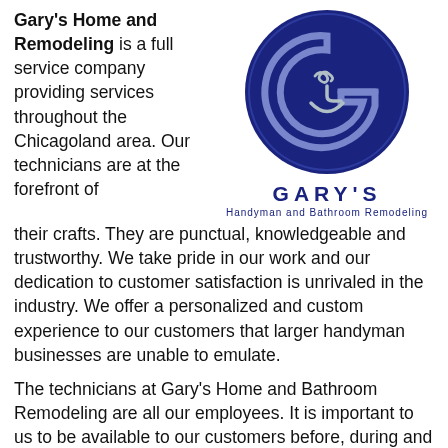Gary's Home and Remodeling is a full service company providing services throughout the Chicagoland area. Our technicians are at the forefront of their crafts. They are punctual, knowledgeable and trustworthy.
[Figure (logo): Gary's Handyman and Bathroom Remodeling circular logo with a dark navy blue background, featuring a stylized G with a faucet/sink icon inside, and the text GARY'S Handyman and Bathroom Remodeling below]
We take pride in our work and our dedication to customer satisfaction is unrivaled in the industry. We offer a personalized and custom experience to our customers that larger handyman businesses are unable to emulate.
The technicians at Gary's Home and Bathroom Remodeling are all our employees. It is important to us to be available to our customers before, during and after the project for any questions or concerns. Our office staff is available by email and phone from 8 A.M.-5 P.M. Monday through Friday.
With a team of equally skilled pros working beside him the Gary's